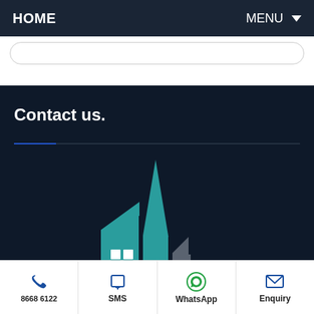HOME   MENU
Contact us.
[Figure (illustration): Stylized building/skyline illustration with teal and grey skyscrapers on dark background]
8668 6122
SMS
WhatsApp
Enquiry